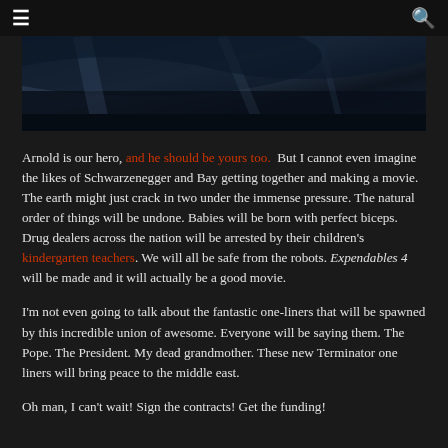☰  🔍
[Figure (photo): Dark close-up photo of what appears to be a motorcycle or vehicle with black/dark blue tones]
Arnold is our hero, and he should be yours too. But I cannot even imagine the likes of Schwarzenegger and Bay getting together and making a movie. The earth might just crack in two under the immense pressure. The natural order of things will be undone. Babies will be born with perfect biceps. Drug dealers across the nation will be arrested by their children's kindergarten teachers. We will all be safe from the robots. Expendables 4 will be made and it will actually be a good movie.
I'm not even going to talk about the fantastic one-liners that will be spawned by this incredible union of awesome. Everyone will be saying them. The Pope. The President. My dead grandmother. These new Terminator one liners will bring peace to the middle east.
Oh man, I can't wait! Sign the contracts! Get the funding!